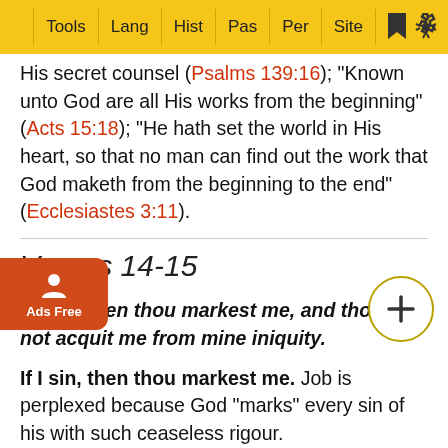Tools | Lang | Hist | Pas | Per | Site
His secret counsel (Psalms 139:16); "Known unto God are all His works from the beginning" (Acts 15:18); "He hath set the world in His heart, so that no man can find out the work that God maketh from the beginning to the end" (Ecclesiastes 3:11).
Verses 14-15
If I sin, then thou markest me, and thou wilt not acquit me from mine iniquity.
If I sin, then thou markest me. Job is perplexed because God "marks" every sin of his with such ceaseless rigour.
In ... if I be wicked. The former word "sin" [ chaaTaa' (H2398)] means a slip through imprudence; but "wicked" [ raash
And if...